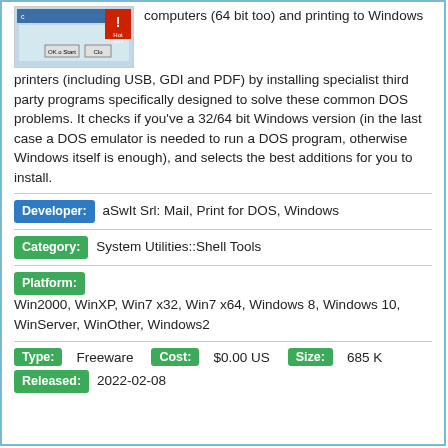[Figure (screenshot): Screenshot of a DOS/Windows program dialog box]
computers (64 bit too) and printing to Windows printers (including USB, GDI and PDF) by installing specialist third party programs specifically designed to solve these common DOS problems. It checks if you've a 32/64 bit Windows version (in the last case a DOS emulator is needed to run a DOS program, otherwise Windows itself is enough), and selects the best additions for you to install.
Developer: aSwIt Srl: Mail, Print for DOS, Windows
Category: System Utilities::Shell Tools
Platform: Win2000, WinXP, Win7 x32, Win7 x64, Windows 8, Windows 10, WinServer, WinOther, Windows2
Type: Freeware   Cost: $0.00 US   Size: 685 K
Released: 2022-02-08